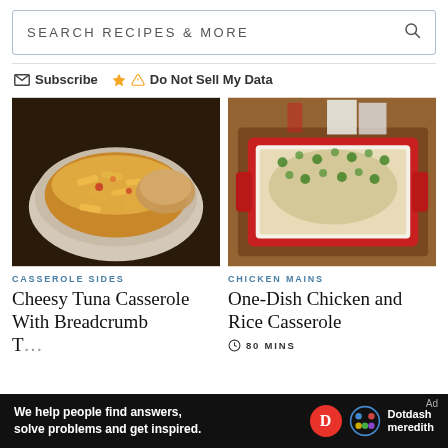SEARCH RECIPES & MORE
Subscribe  Do Not Sell My Data
[Figure (photo): Bowl of cheesy tuna casserole with penne pasta and melted cheese, served in a white bowl]
CASSEROLE SIDES
Cheesy Tuna Casserole With Breadcrumb Topping Recipe
[Figure (photo): One-dish chicken and rice casserole in a red baking dish garnished with herbs, on a wooden board]
CHICKEN MAINS
One-Dish Chicken and Rice Casserole
80 MINS
We help people find answers, solve problems and get inspired. Dotdash meredith  Ad